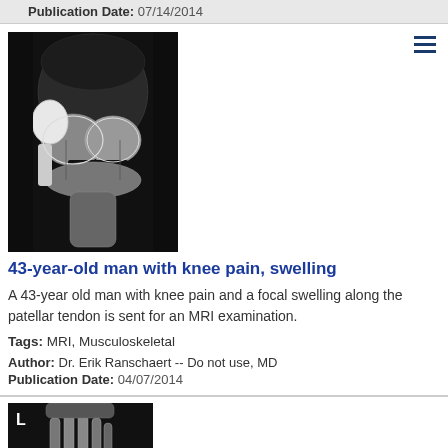Publication Date: 07/14/2014
[Figure (photo): MRI scan of a knee joint showing internal structures including the patellar tendon area, sagittal view in grayscale]
43-year-old man with knee pain, swelling
A 43-year old man with knee pain and a focal swelling along the patellar tendon is sent for an MRI examination.
Tags: MRI, Musculoskeletal
Author: Dr. Erik Ranschaert -- Do not use, MD
Publication Date: 04/07/2014
[Figure (photo): X-ray of a left hand showing metacarpal and phalangeal bones, frontal view in grayscale with 'L' marker visible]